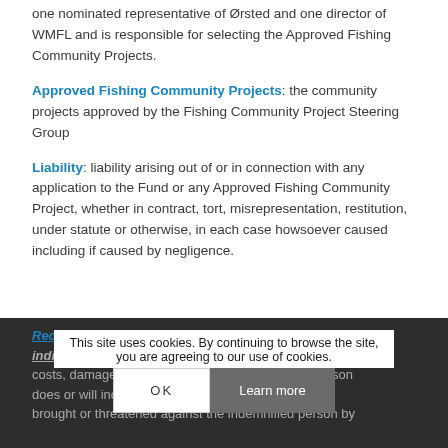one nominated representative of Ørsted and one director of WMFL and is responsible for selecting the Approved Fishing Community Projects.
Approved Fishing Community Projects: the community projects approved by the Fishing Community Project Steering Group
Liability: liability arising out of or in connection with any application to the Fund or any Approved Fishing Community Project, whether in contract, tort, misrepresentation, restitution, under statute or otherwise, in each case howsoever caused including if caused by negligence.
Recoverable Liabilities: all losses (including all direct, indirect and consequential losses), liabilities, indemnified costs, damages and expenses that the indemnified person does or will incur ... proceedings made, brought or threatened against the indemnified person by
This site uses cookies. By continuing to browse the site, you are agreeing to our use of cookies.